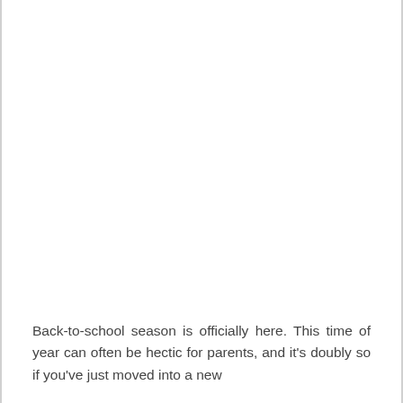Back-to-school season is officially here. This time of year can often be hectic for parents, and it's doubly so if you've just moved into a new